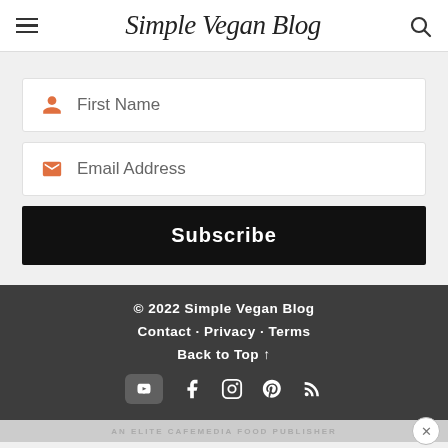Simple Vegan Blog
First Name
Email Address
Subscribe
© 2022 Simple Vegan Blog · Contact · Privacy · Terms · Back to Top ↑ · AN ELITE CAFEMEDIA FOOD PUBLISHER